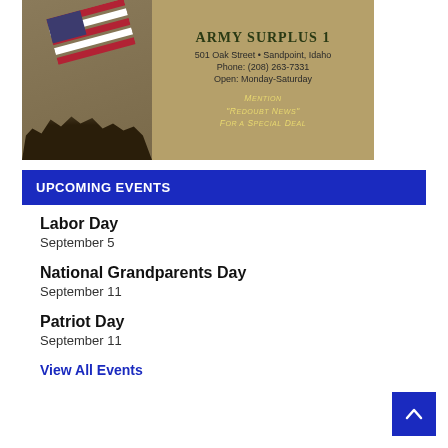[Figure (photo): Army Surplus 1 advertisement banner with American flag and Iwo Jima soldiers silhouette. Shows store address 501 Oak Street, Sandpoint, Idaho, Phone: (208) 263-7331, Open: Monday-Saturday. Mention 'Redoubt News' for a Special Deal.]
UPCOMING EVENTS
Labor Day
September 5
National Grandparents Day
September 11
Patriot Day
September 11
View All Events